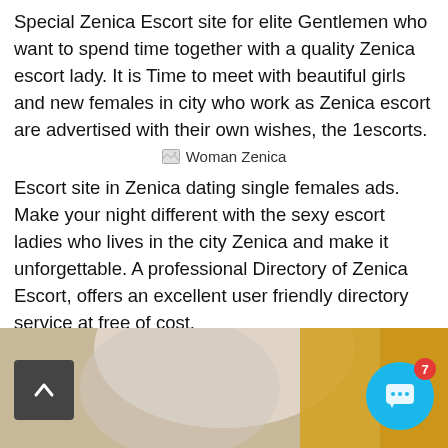Special Zenica Escort site for elite Gentlemen who want to spend time together with a quality Zenica escort lady. It is Time to meet with beautiful girls and new females in city who work as Zenica escort are advertised with their own wishes, the 1escorts.
[Figure (photo): Broken image placeholder with alt text 'Woman Zenica']
Escort site in Zenica dating single females ads. Make your night different with the sexy escort ladies who lives in the city Zenica and make it unforgettable. A professional Directory of Zenica Escort, offers an excellent user friendly directory service at free of cost.
These ladies make sure that the high standards are met. If you need a company for dinners, we maintain a list of escorts from all over the world. It is like a beautiful friend "rental" to have a smart conversation or chat for lunch or cocktail.
[Figure (photo): Partially visible photo at bottom of page showing blurred/cropped image, with a dark back-to-top arrow button on the left and a cyan chat button with red badge showing '7' on the right.]